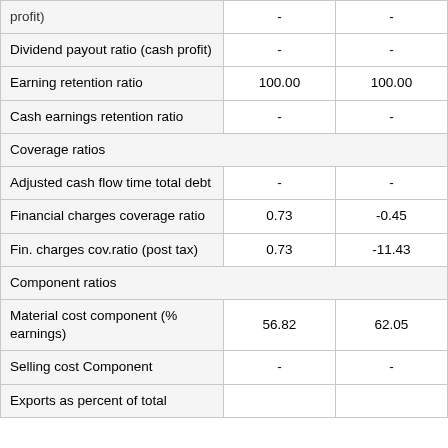|  |  |  |
| --- | --- | --- |
| profit) | - | - |
| Dividend payout ratio (cash profit) | - | - |
| Earning retention ratio | 100.00 | 100.00 |
| Cash earnings retention ratio | - | - |
| Coverage ratios |  |  |
| Adjusted cash flow time total debt | - | - |
| Financial charges coverage ratio | 0.73 | -0.45 |
| Fin. charges cov.ratio (post tax) | 0.73 | -11.43 |
| Component ratios |  |  |
| Material cost component (% earnings) | 56.82 | 62.05 |
| Selling cost Component | - | - |
| Exports as percent of total |  |  |